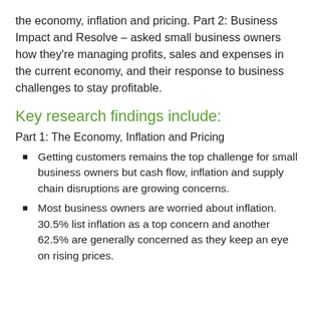the economy, inflation and pricing. Part 2: Business Impact and Resolve – asked small business owners how they're managing profits, sales and expenses in the current economy, and their response to business challenges to stay profitable.
Key research findings include:
Part 1: The Economy, Inflation and Pricing
Getting customers remains the top challenge for small business owners but cash flow, inflation and supply chain disruptions are growing concerns.
Most business owners are worried about inflation. 30.5% list inflation as a top concern and another 62.5% are generally concerned as they keep an eye on rising prices.